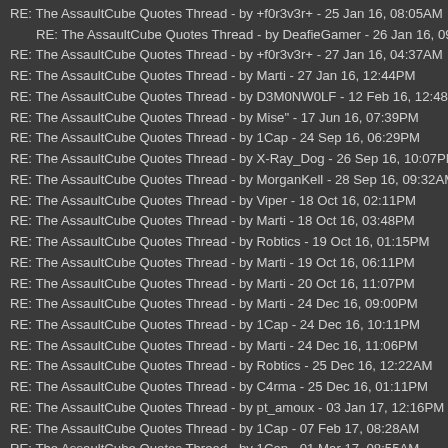RE: The AssaultCube Quotes Thread - by +f0r3v3r+ - 25 Jan 16, 08:05AM
RE: The AssaultCube Quotes Thread - by DeafieGamer - 26 Jan 16, 09:30A
RE: The AssaultCube Quotes Thread - by +f0r3v3r+ - 27 Jan 16, 04:37AM
RE: The AssaultCube Quotes Thread - by Marti - 27 Jan 16, 12:44PM
RE: The AssaultCube Quotes Thread - by D3M0NW0LF - 12 Feb 16, 12:48PM
RE: The AssaultCube Quotes Thread - by Mise" - 17 Jun 16, 07:39PM
RE: The AssaultCube Quotes Thread - by 1Cap - 24 Sep 16, 06:29PM
RE: The AssaultCube Quotes Thread - by X-Ray_Dog - 26 Sep 16, 10:07PM
RE: The AssaultCube Quotes Thread - by MorganKell - 28 Sep 16, 09:32AM
RE: The AssaultCube Quotes Thread - by Viper - 18 Oct 16, 02:11PM
RE: The AssaultCube Quotes Thread - by Marti - 18 Oct 16, 03:48PM
RE: The AssaultCube Quotes Thread - by Robtics - 19 Oct 16, 01:15PM
RE: The AssaultCube Quotes Thread - by Marti - 19 Oct 16, 06:11PM
RE: The AssaultCube Quotes Thread - by Marti - 20 Oct 16, 11:07PM
RE: The AssaultCube Quotes Thread - by Marti - 24 Dec 16, 09:00PM
RE: The AssaultCube Quotes Thread - by 1Cap - 24 Dec 16, 10:11PM
RE: The AssaultCube Quotes Thread - by Marti - 24 Dec 16, 11:06PM
RE: The AssaultCube Quotes Thread - by Robtics - 25 Dec 16, 12:22AM
RE: The AssaultCube Quotes Thread - by C4rma - 25 Dec 16, 01:11PM
RE: The AssaultCube Quotes Thread - by pt_amoux - 03 Jan 17, 12:16PM
RE: The AssaultCube Quotes Thread - by 1Cap - 07 Feb 17, 08:28AM
RE: The AssaultCube Quotes Thread - by 1Cap - 01 Mar 17, 08:55AM
RE: The AssaultCube Quotes Thread - by Marti - 02 Mar 17, 02:32PM
RE: The AssaultCube Quotes Thread - by Marti - 12 Jun 17, 11:50PM
RE: The AssaultCube Quotes Thread - by Marti - 28 Aug 17, 11:50PM